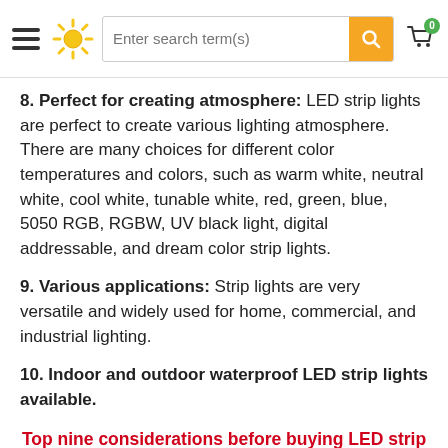Enter search term(s)
8. Perfect for creating atmosphere: LED strip lights are perfect to create various lighting atmosphere. There are many choices for different color temperatures and colors, such as warm white, neutral white, cool white, tunable white, red, green, blue, 5050 RGB, RGBW, UV black light, digital addressable, and dream color strip lights.
9. Various applications: Strip lights are very versatile and widely used for home, commercial, and industrial lighting.
10. Indoor and outdoor waterproof LED strip lights available.
Top nine considerations before buying LED strip lights